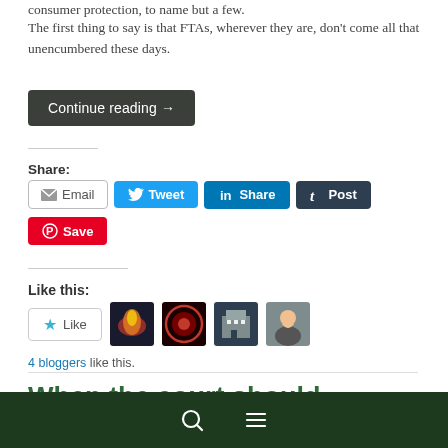consumer protection, to name but a few.
The first thing to say is that FTAs, wherever they are, don't come all that unencumbered these days.
Continue reading →
Share:
[Figure (screenshot): Social share buttons: Email, Tweet, Share (LinkedIn), Post (Tumblr), Save (Pinterest)]
Like this:
[Figure (screenshot): Like button with star icon, and 4 blogger avatar thumbnails]
4 bloggers like this.
When the court should
[Figure (screenshot): Bottom navigation bar with search and menu icons on dark green background]